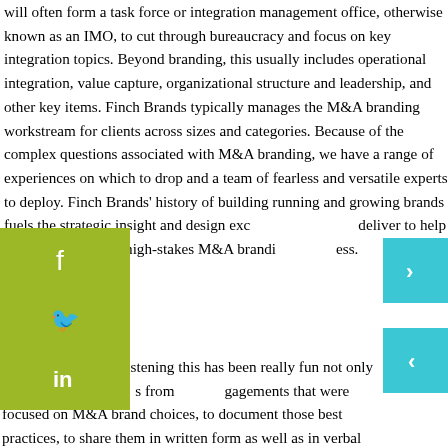will often form a task force or integration management office, otherwise known as an IMO, to cut through bureaucracy and focus on key integration topics. Beyond branding, this usually includes operational integration, value capture, organizational structure and leadership, and other key items. Finch Brands typically manages the M&A branding workstream for clients across sizes and categories. Because of the complex questions associated with M&A branding, we have a range of experiences on which to drop and a team of fearless and versatile experts to deploy. Finch Brands' history of building running and growing brands fuels the strategic insight and design excellence we deliver to help clients navigate the high-stakes M&A branding process.
Bill C...
Thanks for listening this has been really fun not only to gather our thoughts from engagements that were focused on M&A brand choices, to document those best practices, to share them in written form as well as in verbal form and we hope that you've enjoyed it. We'd love to discuss further as you encounter situations like this. I think if there's one kind of closing thought on this, which I think tended to reiterate across the expanse of the piece is that the right answers here are highly